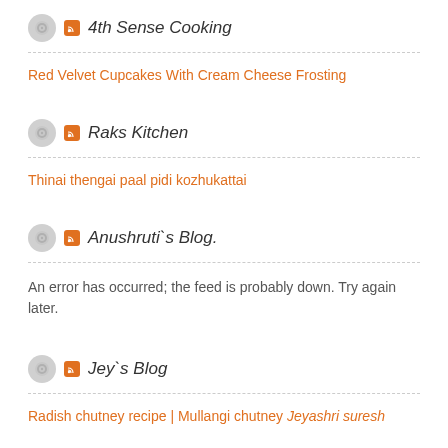4th Sense Cooking
Red Velvet Cupcakes With Cream Cheese Frosting
Raks Kitchen
Thinai thengai paal pidi kozhukattai
Anushruti`s Blog.
An error has occurred; the feed is probably down. Try again later.
Jey`s Blog
Radish chutney recipe | Mullangi chutney Jeyashri suresh